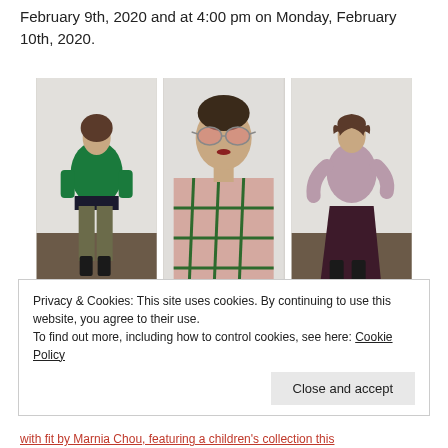February 9th, 2020 and at 4:00 pm on Monday, February 10th, 2020.
[Figure (photo): Three fashion photos side by side: left shows a woman in green top with dark wide belt and olive trousers with black boots; center shows a close-up of a woman wearing pink sunglasses and a pink/green plaid coat; right shows a woman in a mauve blouse and dark burgundy midi skirt with black boots.]
Privacy & Cookies: This site uses cookies. By continuing to use this website, you agree to their use.
To find out more, including how to control cookies, see here: Cookie Policy
Close and accept
with fit by Marnia Chou, featuring a children's collection this